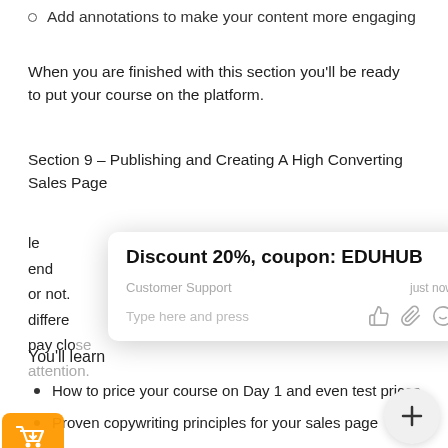Add annotations to make your content more engaging
When you are finished with this section you'll be ready to put your course on the platform.
Section 9 – Publishing and Creating A High Converting Sales Page
le... elements that end... you or not. ...an be differe... important to pay close attention.
[Figure (screenshot): Chat popup overlay showing 'Discount 20%, coupon: EDUHUB' from Customer Support with 'just now' timestamp and input box with icons]
You'll learn
How to price your course on Day 1 and even test prices
Proven copywriting principles for your sales page